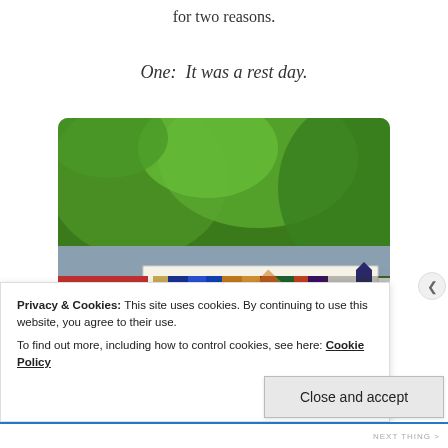for two reasons.
One:  It was a rest day.
[Figure (photo): A Little Free Library outdoor book exchange box with a white sign reading 'LittleFreeLibrary' with text 'Take a Book Return a Book' and charter number 11383. The box is mounted on a post with colorful books visible inside, red building behind, and green trees overhead.]
Privacy & Cookies: This site uses cookies. By continuing to use this website, you agree to their use.
To find out more, including how to control cookies, see here: Cookie Policy
Close and accept